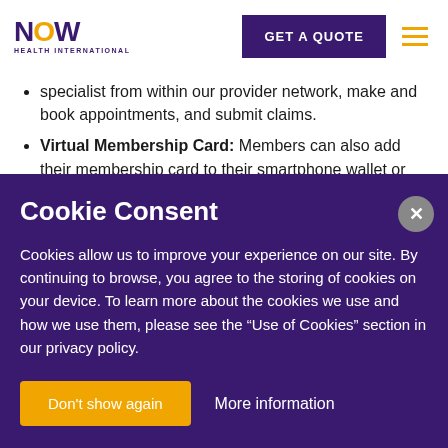NOW HEALTH INTERNATIONAL | GET A QUOTE
specialist from within our provider network, make and book appointments, and submit claims.
Virtual Membership Card: Members can also add their membership card to their smartphone wallet or download a copy from their secure online portfolio.
Cookie Consent
Cookies allow us to improve your experience on our site. By continuing to browse, you agree to the storing of cookies on your device. To learn more about the cookies we use and how we use them, please see the “Use of Cookies” section in our privacy policy.
Don't show again | More information